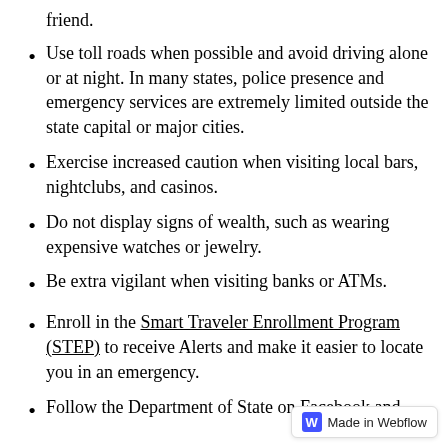friend.
Use toll roads when possible and avoid driving alone or at night. In many states, police presence and emergency services are extremely limited outside the state capital or major cities.
Exercise increased caution when visiting local bars, nightclubs, and casinos.
Do not display signs of wealth, such as wearing expensive watches or jewelry.
Be extra vigilant when visiting banks or ATMs.
Enroll in the Smart Traveler Enrollment Program (STEP) to receive Alerts and make it easier to locate you in an emergency.
Follow the Department of State on Facebook and